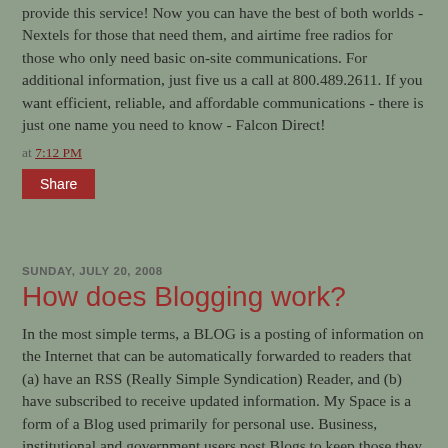provide this service! Now you can have the best of both worlds - Nextels for those that need them, and airtime free radios for those who only need basic on-site communications. For additional information, just five us a call at 800.489.2611. If you want efficient, reliable, and affordable communications - there is just one name you need to know - Falcon Direct!
at 7:12 PM
Share
SUNDAY, JULY 20, 2008
How does Blogging work?
In the most simple terms, a BLOG is a posting of information on the Internet that can be automatically forwarded to readers that (a) have an RSS (Really Simple Syndication) Reader, and (b) have subscribed to receive updated information. My Space is a form of a Blog used primarily for personal use. Business, institutional and government users post Blogs to keep those they serve up to date on